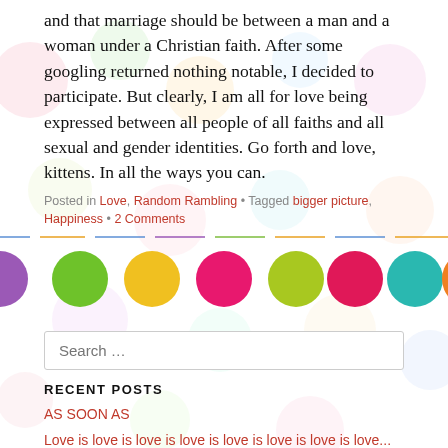and that marriage should be between a man and a woman under a Christian faith. After some googling returned nothing notable, I decided to participate. But clearly, I am all for love being expressed between all people of all faiths and all sexual and gender identities. Go forth and love, kittens. In all the ways you can.
Posted in Love, Random Rambling • Tagged bigger picture, Happiness • 2 Comments
[Figure (illustration): A horizontal strip of colorful circles (green, yellow, pink/magenta, yellow-green, red/crimson, teal, orange) on a white background with pastel dot decorations, with a thin horizontal line above them in multiple colors.]
Search ...
RECENT POSTS
AS SOON AS
Love is love is love is love is love is love is love is love...
Hello 2016
Mile-markers and "FUCK YES."